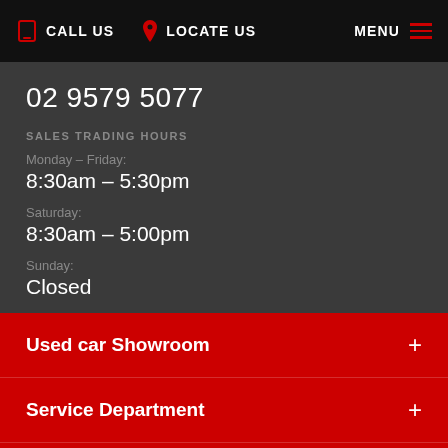CALL US  LOCATE US  MENU
02 9579 5077
SALES TRADING HOURS
Monday – Friday:
8:30am – 5:30pm
Saturday:
8:30am – 5:00pm
Sunday:
Closed
Used car Showroom +
Service Department +
Cars +